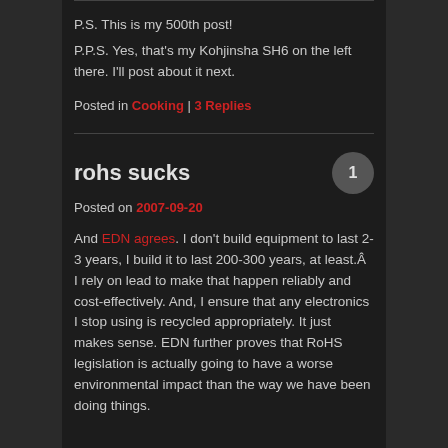P.S. This is my 500th post!
P.P.S. Yes, that's my Kohjinsha SH6 on the left there. I'll post about it next.
Posted in Cooking | 3 Replies
rohs sucks
Posted on 2007-09-20
And EDN agrees. I don't build equipment to last 2-3 years, I build it to last 200-300 years, at least.Â  I rely on lead to make that happen reliably and cost-effectively. And, I ensure that any electronics I stop using is recycled appropriately. It just makes sense. EDN further proves that RoHS legislation is actually going to have a worse environmental impact than the way we have been doing things.